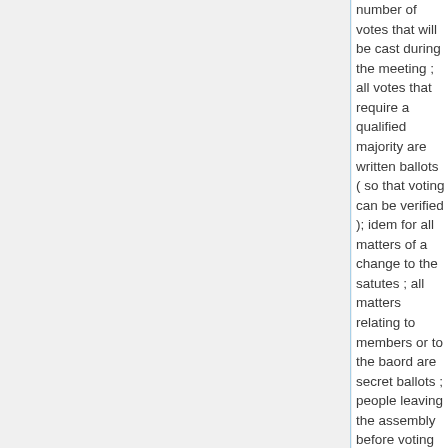number of votes that will be cast during the meeting ; all votes that require a qualified majority are written ballots ( so that voting can be verified ); idem for all matters of a change to the satutes ; all matters relating to members or to the baord are secret ballots ; people leaving the assembly before voting have to render their ballots blank before leaving the room m ballot slips cannot be passed on and can only be used